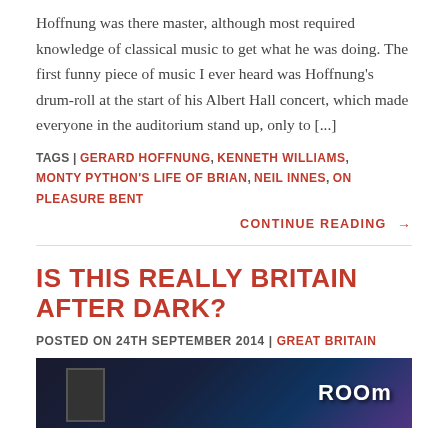Hoffnung was there master, although most required knowledge of classical music to get what he was doing. The first funny piece of music I ever heard was Hoffnung's drum-roll at the start of his Albert Hall concert, which made everyone in the auditorium stand up, only to [...]
TAGS | GERARD HOFFNUNG, KENNETH WILLIAMS, MONTY PYTHON'S LIFE OF BRIAN, NEIL INNES, ON PLEASURE BENT
CONTINUE READING →
IS THIS REALLY BRITAIN AFTER DARK?
POSTED ON 24TH SEPTEMBER 2014 | GREAT BRITAIN
[Figure (photo): Dark nighttime photograph showing a sign reading 'Room' with neon or illuminated signage visible in a dark urban setting]